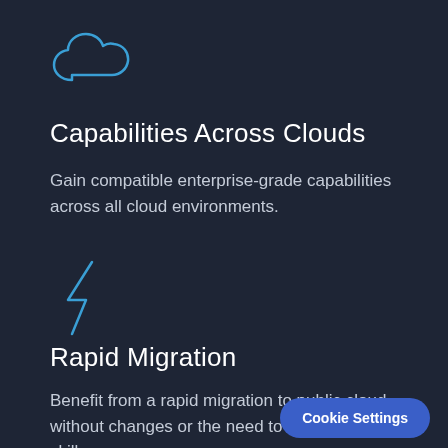[Figure (illustration): Cloud icon outline in blue, representing cloud computing]
Capabilities Across Clouds
Gain compatible enterprise-grade capabilities across all cloud environments.
[Figure (illustration): Lightning bolt icon in blue, representing rapid migration]
Rapid Migration
Benefit from a rapid migration to public cloud, without changes or the need to acquire new skills.
Cookie Settings